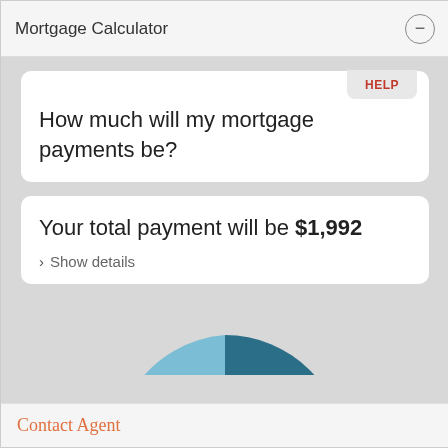Mortgage Calculator
How much will my mortgage payments be?
Your total payment will be $1,992
> Show details
[Figure (pie-chart): Partial pie chart showing mortgage payment breakdown, with dark teal and light blue segments visible at bottom of screen]
Contact Agent